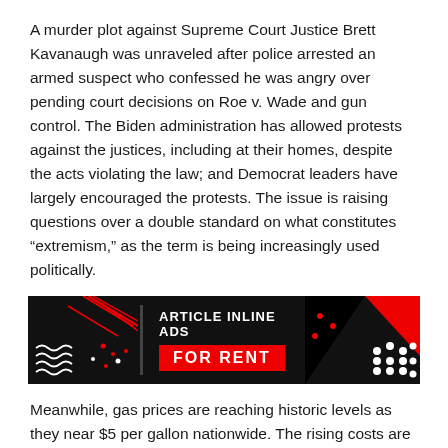A murder plot against Supreme Court Justice Brett Kavanaugh was unraveled after police arrested an armed suspect who confessed he was angry over pending court decisions on Roe v. Wade and gun control. The Biden administration has allowed protests against the justices, including at their homes, despite the acts violating the law; and Democrat leaders have largely encouraged the protests. The issue is raising questions over a double standard on what constitutes “extremism,” as the term is being increasingly used politically.
[Figure (infographic): Article inline ads for rent banner — black background with red/white geometric shapes on left and right, white wavy lines on left, white dots on right, red triangular accent shape on right. Center text reads 'ARTICLE INLINE ADS' and 'FOR RENT' in bold white/red.]
Meanwhile, gas prices are reaching historic levels as they near $5 per gallon nationwide. The rising costs are having a trickle-down effect on everything from shipping prices to public services, and the impact on policing is now coming into focus. Some police departments in the United States are being forced to handle calls remotely as they’ve already burned